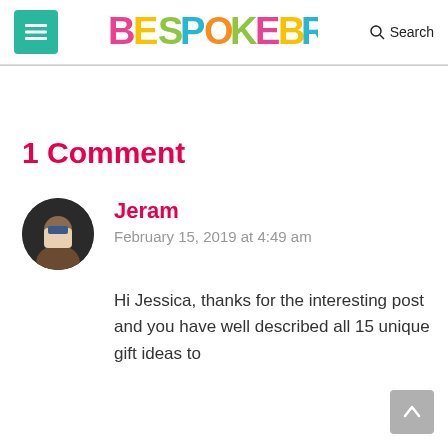BESPOKE BRIDE — Search
1 Comment
Jeram
February 15, 2019 at 4:49 am
Hi Jessica, thanks for the interesting post and you have well described all 15 unique gift ideas to